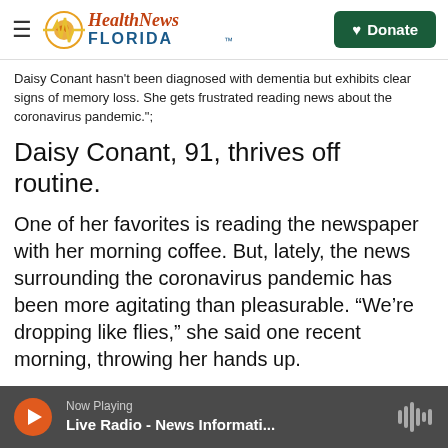Health News Florida — Donate
Daisy Conant hasn't been diagnosed with dementia but exhibits clear signs of memory loss. She gets frustrated reading news about the coronavirus pandemic.";
Daisy Conant, 91, thrives off routine.
One of her favorites is reading the newspaper with her morning coffee. But, lately, the news surrounding the coronavirus pandemic has been more agitating than pleasurable. “We’re dropping like flies,” she said one recent morning, throwing her hands up.
“She gets fearful,” explained her grandson Erik
Now Playing — Live Radio - News Informati...